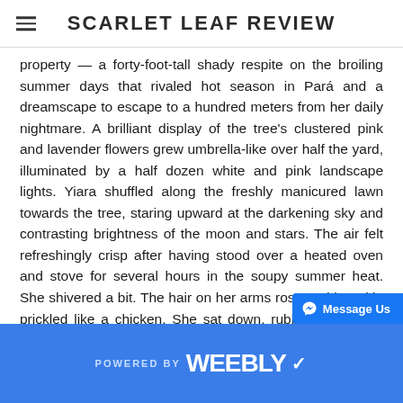SCARLET LEAF REVIEW
property — a forty-foot-tall shady respite on the broiling summer days that rivaled hot season in Pará and a dreamscape to escape to a hundred meters from her daily nightmare. A brilliant display of the tree's clustered pink and lavender flowers grew umbrella-like over half the yard, illuminated by a half dozen white and pink landscape lights. Yiara shuffled along the freshly manicured lawn towards the tree, staring upward at the darkening sky and contrasting brightness of the moon and stars. The air felt refreshingly crisp after having stood over a heated oven and stove for several hours in the soupy summer heat. She shivered a bit. The hair on her arms rose and her skin prickled like a chicken. She sat down, rubbing down her arms to generate warmth.
Yiara felt safest here. If she closed her eyes and listened to the songs of nature, it
POWERED BY weebly